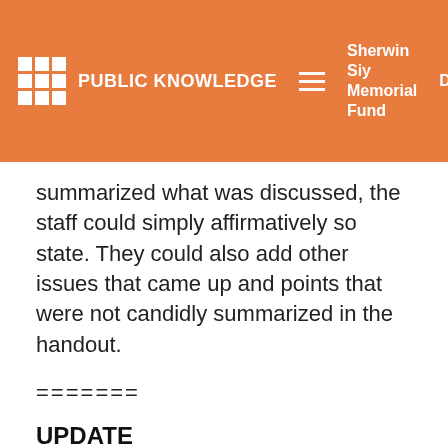PUBLIC KNOWLEDGE   Sherwin Siy Memorial Fund   Donate
summarized what was discussed, the staff could simply affirmatively so state. They could also add other issues that came up and points that were not candidly summarized in the handout.
=======
UPDATE
A few days after the release of the ex parte R&O, FCC released an R&O dealing with the administrative details of Parts 0